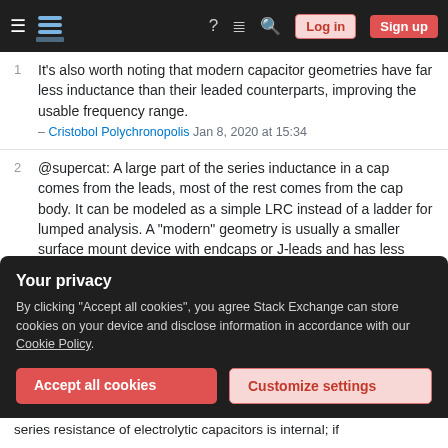Stack Exchange navigation bar with hamburger menu, logo, help, chat, search icons, Log in and Sign up buttons
1. It's also worth noting that modern capacitor geometries have far less inductance than their leaded counterparts, improving the usable frequency range. – Cristobol Polychronopolis Jan 8, 2020 at 15:34
2. @supercat: A large part of the series inductance in a cap comes from the leads, most of the rest comes from the cap body. It can be modeled as a simple LRC instead of a ladder for lumped analysis. A "modern" geometry is usually a smaller surface mount device with endcaps or J-leads and has less inductance...but you also have to take into account the inductance of the traces leading to the cap, so keep them short. – Cristobol Polychronopolis Jan 8, 2020 at 16:33
Your privacy
By clicking "Accept all cookies", you agree Stack Exchange can store cookies on your device and disclose information in accordance with our Cookie Policy.
Accept all cookies | Customize settings
series resistance of electrolytic capacitors is internal; if